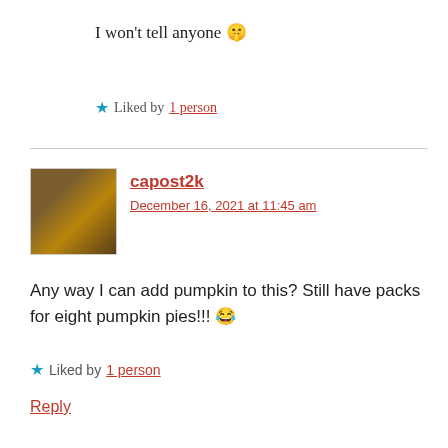I won't tell anyone 🤫
★ Liked by 1 person
capost2k
December 16, 2021 at 11:45 am
Any way I can add pumpkin to this? Still have packs for eight pumpkin pies!!! 😂
★ Liked by 1 person
Reply
Gail
December 16, 2021 at 1:04 pm